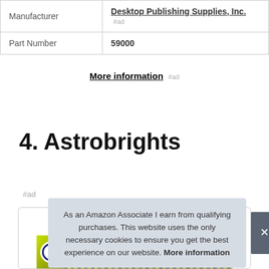|  |  |
| --- | --- |
| Manufacturer | Desktop Publishing Supplies, Inc. #ad |
| Part Number | 59000 |
More information #ad
4. Astrobrights
#ad
As an Amazon Associate I earn from qualifying purchases. This website uses the only necessary cookies to ensure you get the best experience on our website. More information
[Figure (photo): Product image strip showing Astrobrights paper packaging with green and dark background pattern]